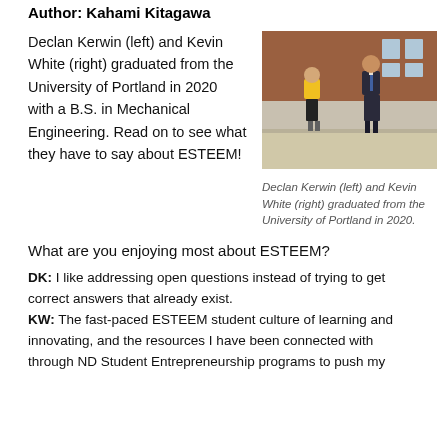Author: Kahami Kitagawa
Declan Kerwin (left) and Kevin White (right) graduated from the University of Portland in 2020 with a B.S. in Mechanical Engineering. Read on to see what they have to say about ESTEEM!
[Figure (photo): Two men standing outside a brick building. One wearing a yellow shirt and shorts on the left, one in a suit on the right.]
Declan Kerwin (left) and Kevin White (right) graduated from the University of Portland in 2020.
What are you enjoying most about ESTEEM?
DK: I like addressing open questions instead of trying to get correct answers that already exist.
KW: The fast-paced ESTEEM student culture of learning and innovating, and the resources I have been connected with through ND Student Entrepreneurship programs to push my